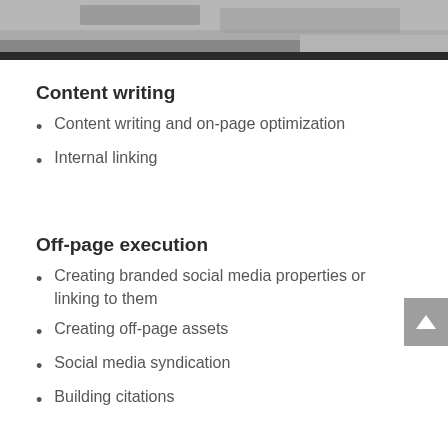[Figure (photo): Partial view of a person typing on a keyboard, bottom portion of a photograph visible at the top of the page]
Content writing
Content writing and on-page optimization
Internal linking
Off-page execution
Creating branded social media properties or linking to them
Creating off-page assets
Social media syndication
Building citations
GMB optimization